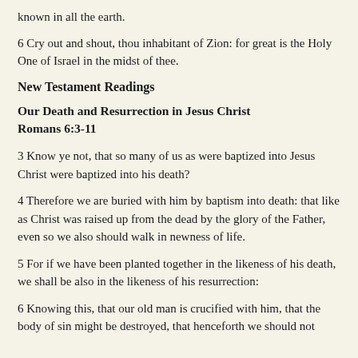known in all the earth.
6 Cry out and shout, thou inhabitant of Zion: for great is the Holy One of Israel in the midst of thee.
New Testament Readings
Our Death and Resurrection in Jesus Christ
Romans 6:3-11
3 Know ye not, that so many of us as were baptized into Jesus Christ were baptized into his death?
4 Therefore we are buried with him by baptism into death: that like as Christ was raised up from the dead by the glory of the Father, even so we also should walk in newness of life.
5 For if we have been planted together in the likeness of his death, we shall be also in the likeness of his resurrection:
6 Knowing this, that our old man is crucified with him, that the body of sin might be destroyed, that henceforth we should not